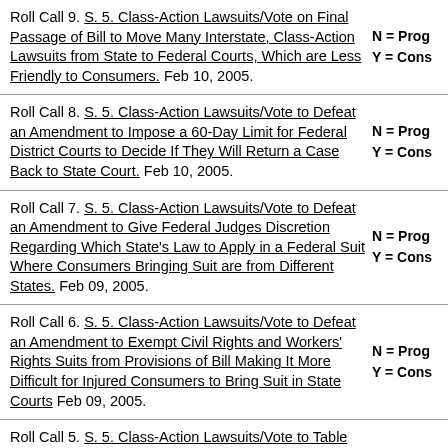Roll Call 9. S. 5. Class-Action Lawsuits/Vote on Final Passage of Bill to Move Many Interstate, Class-Action Lawsuits from State to Federal Courts, Which are Less Friendly to Consumers. Feb 10, 2005. N = Prog Y = Cons
Roll Call 8. S. 5. Class-Action Lawsuits/Vote to Defeat an Amendment to Impose a 60-Day Limit for Federal District Courts to Decide If They Will Return a Case Back to State Court. Feb 10, 2005. N = Prog Y = Cons
Roll Call 7. S. 5. Class-Action Lawsuits/Vote to Defeat an Amendment to Give Federal Judges Discretion Regarding Which State's Law to Apply in a Federal Suit Where Consumers Bringing Suit are from Different States. Feb 09, 2005. N = Prog Y = Cons
Roll Call 6. S. 5. Class-Action Lawsuits/Vote to Defeat an Amendment to Exempt Civil Rights and Workers' Rights Suits from Provisions of Bill Making It More Difficult for Injured Consumers to Bring Suit in State Courts Feb 09, 2005. N = Prog Y = Cons
Roll Call 5. S. 5. Class-Action Lawsuits/Vote to Table (Kill) Amendment to Exempt State Attorney General